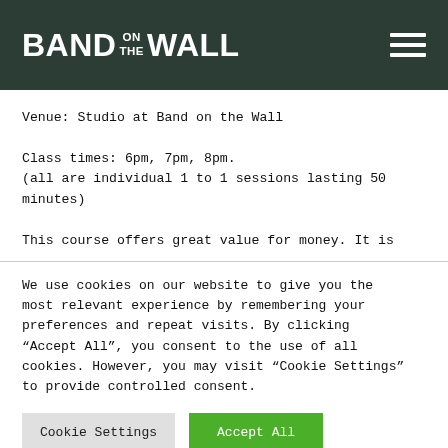BAND ON THE WALL
Venue: Studio at Band on the Wall

Class times: 6pm, 7pm, 8pm.
(all are individual 1 to 1 sessions lasting 50 minutes)

This course offers great value for money. It is
We use cookies on our website to give you the most relevant experience by remembering your preferences and repeat visits. By clicking “Accept All”, you consent to the use of all cookies. However, you may visit “Cookie Settings” to provide controlled consent.
Cookie Settings | Accept All